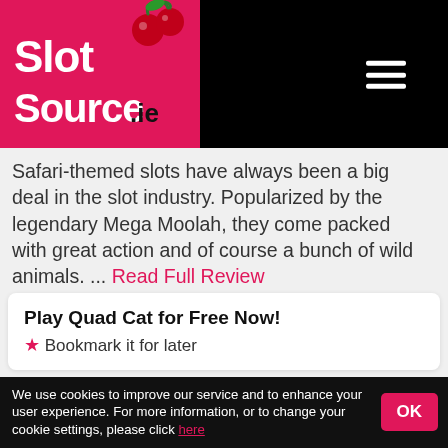SlotSource.ie
Safari-themed slots have always been a big deal in the slot industry. Popularized by the legendary Mega Moolah, they come packed with great action and of course a bunch of wild animals. ... Read Full Review
Play Quad Cat for Free Now!
★ Bookmark it for later
[Figure (photo): Game screenshot showing wild cats with a pink/red overlay box]
We use cookies to improve our service and to enhance your user experience. For more information, or to change your cookie settings, please click here